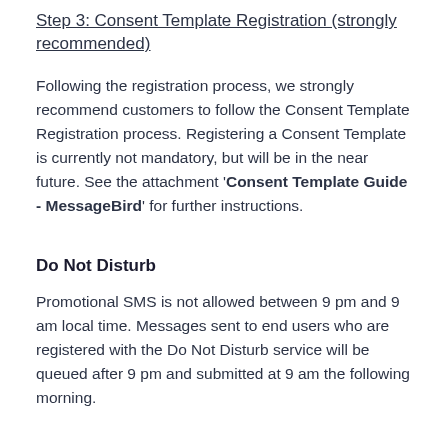Step 3: Consent Template Registration (strongly recommended)
Following the registration process, we strongly recommend customers to follow the Consent Template Registration process. Registering a Consent Template is currently not mandatory, but will be in the near future. See the attachment 'Consent Template Guide - MessageBird' for further instructions.
Do Not Disturb
Promotional SMS is not allowed between 9 pm and 9 am local time. Messages sent to end users who are registered with the Do Not Disturb service will be queued after 9 pm and submitted at 9 am the following morning.